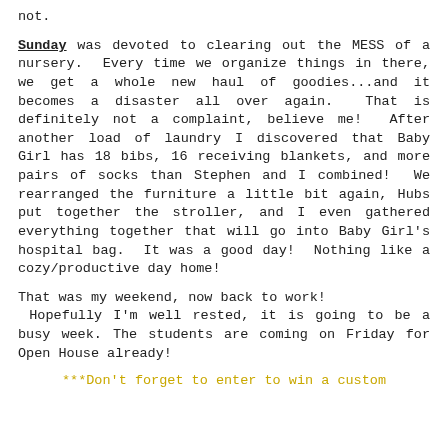not.
Sunday was devoted to clearing out the MESS of a nursery. Every time we organize things in there, we get a whole new haul of goodies...and it becomes a disaster all over again. That is definitely not a complaint, believe me! After another load of laundry I discovered that Baby Girl has 18 bibs, 16 receiving blankets, and more pairs of socks than Stephen and I combined! We rearranged the furniture a little bit again, Hubs put together the stroller, and I even gathered everything together that will go into Baby Girl's hospital bag. It was a good day! Nothing like a cozy/productive day home!
That was my weekend, now back to work! Hopefully I'm well rested, it is going to be a busy week. The students are coming on Friday for Open House already!
***Don't forget to enter to win a custom